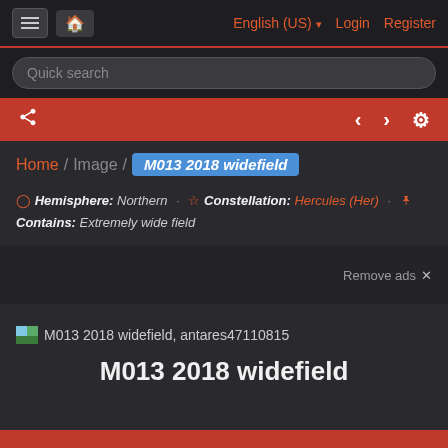≡  A  English (US) ▾  Login  Register
Quick search
< > ⚙
Home / Image / M013 2018 widefield
Hemisphere: Northern · Constellation: Hercules (Her) · Contains: Extremely wide field
Remove ads ✕
[Figure (screenshot): Small landscape thumbnail image placeholder]
M013 2018 widefield, antares47110815
M013 2018 widefield